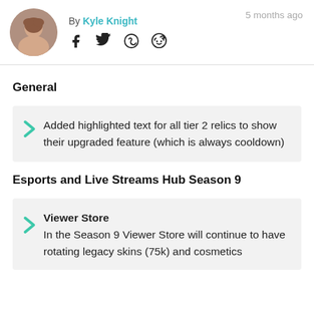By Kyle Knight   5 months ago
General
Added highlighted text for all tier 2 relics to show their upgraded feature (which is always cooldown)
Esports and Live Streams Hub Season 9
Viewer Store
In the Season 9 Viewer Store will continue to have rotating legacy skins (75k) and cosmetics